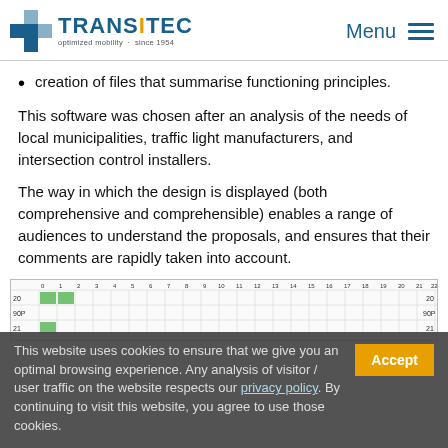TRANSITEC optimized mobility · since 1954 | Menu
creation of files that summarise functioning principles.
This software was chosen after an analysis of the needs of local municipalities, traffic light manufacturers, and intersection control installers.
The way in which the design is displayed (both comprehensive and comprehensible) enables a range of audiences to understand the proposals, and ensures that their comments are rapidly taken into account.
[Figure (other): Partial view of a traffic signal timing chart with numbered columns (0–22) and rows labeled 20, 90P, 21 with green bars in some cells.]
This website uses cookies to ensure that we give you an optimal browsing experience. Any analysis of visitor / user traffic on the website respects our privacy policy. By continuing to visit this website, you agree to use those cookies.